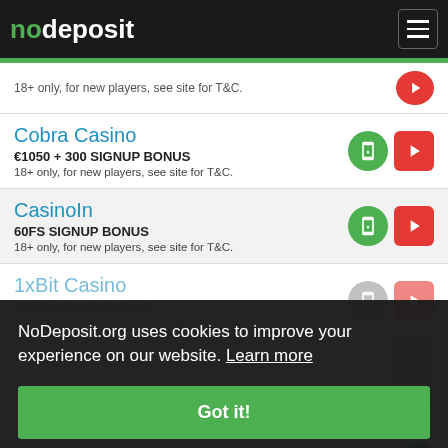nodeposit
18+ only, for new players, see site for T&C.
Cobra Casino
€1050 + 300 SIGNUP BONUS
18+ only, for new players, see site for T&C.
CasinoIn
60FS SIGNUP BONUS
18+ only, for new players, see site for T&C.
1xBit Casino
1BTC SIGNUP BONUS
18+ only, for new players, see site for T&C.
1xlatestupd BONUS (partially visible)
etflip
0FS SIGNUP BONUS
18+ only, for new players, see site for T&C.
Royal Rabbit Casino
NoDeposit.org uses cookies to improve your experience on our website. Learn more
Got it!